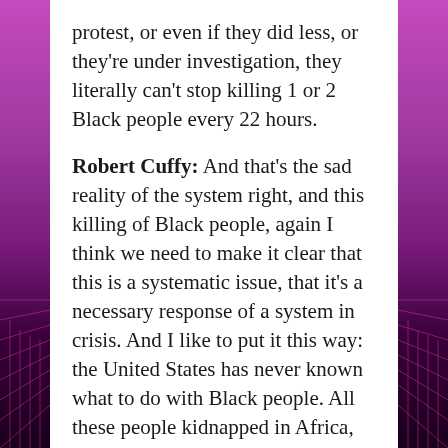protest, or even if they did less, or they're under investigation, they literally can't stop killing 1 or 2 Black people every 22 hours.
Robert Cuffy: And that's the sad reality of the system right, and this killing of Black people, again I think we need to make it clear that this is a systematic issue, that it's a necessary response of a system in crisis. And I like to put it this way: the United States has never known what to do with Black people. All these people kidnapped in Africa, forced into the Transatlantic slave trade, forcibly brought here, they killed off so many people in passage that the bodies they threw overboard were so many that they changed